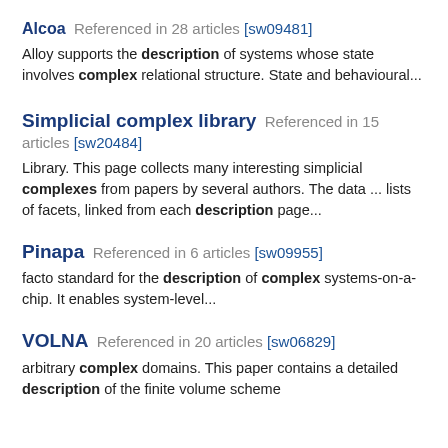Alcoa  Referenced in 28 articles [sw09481]
Alloy supports the description of systems whose state involves complex relational structure. State and behavioural...
Simplicial complex library  Referenced in 15 articles [sw20484]
Library. This page collects many interesting simplicial complexes from papers by several authors. The data ... lists of facets, linked from each description page...
Pinapa  Referenced in 6 articles [sw09955]
facto standard for the description of complex systems-on-a-chip. It enables system-level...
VOLNA  Referenced in 20 articles [sw06829]
arbitrary complex domains. This paper contains a detailed description of the finite volume scheme